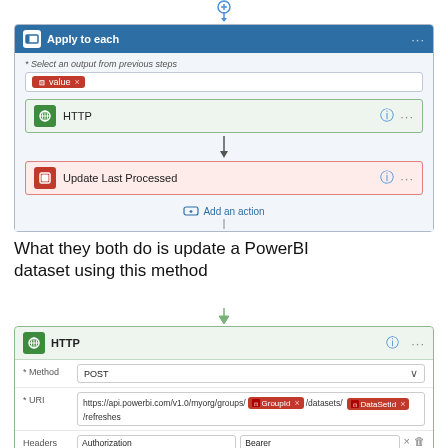[Figure (screenshot): Power Automate flow showing 'Apply to each' loop with HTTP action and 'Update Last Processed' action, with value badge input and Add an action button]
What they both do is update a PowerBI dataset using this method
[Figure (screenshot): HTTP action configuration showing POST method, URI with GroupId and DataSetId badges pointing to PowerBI API, Headers with Authorization/Bearer/access_token, and Queries row]